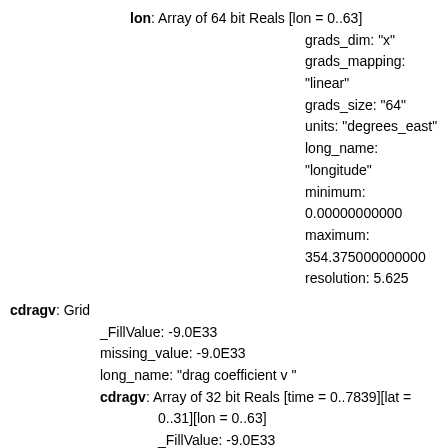lon: Array of 64 bit Reals [lon = 0..63]
grads_dim: "x"
grads_mapping: "linear"
grads_size: "64"
units: "degrees_east"
long_name: "longitude"
minimum: 0.00000000000
maximum: 354.375000000000
resolution: 5.625
cdragv: Grid
_FillValue: -9.0E33
missing_value: -9.0E33
long_name: "drag coefficient v "
cdragv: Array of 32 bit Reals [time = 0..7839][lat = 0..31][lon = 0..63]
_FillValue: -9.0E33
missing_value: -9.0E33
long_name: "drag coefficient v "
time: Array of 64 bit Reals [time = 0..7839]
grads_dim: "t"
grads_mapping: "linear"
grads_size: "7840"
grads_min: "00z01jan0000"
grads_step: "1yr"